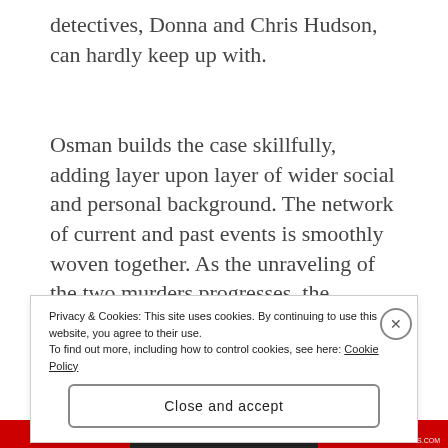detectives, Donna and Chris Hudson, can hardly keep up with.
Osman builds the case skillfully, adding layer upon layer of wider social and personal background. The network of current and past events is smoothly woven together. As the unraveling of the two murders progresses, the characters develop and
Privacy & Cookies: This site uses cookies. By continuing to use this website, you agree to their use.
To find out more, including how to control cookies, see here: Cookie Policy
Close and accept